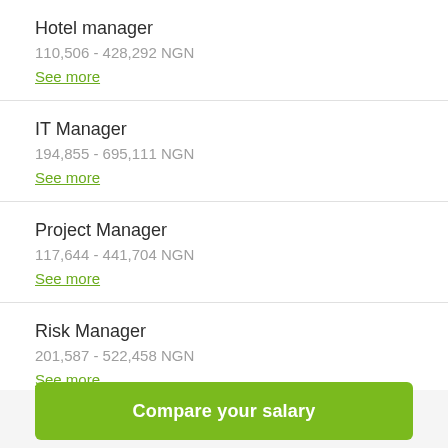Hotel manager
110,506 - 428,292 NGN
See more
IT Manager
194,855 - 695,111 NGN
See more
Project Manager
117,644 - 441,704 NGN
See more
Risk Manager
201,587 - 522,458 NGN
See more
Compare your salary